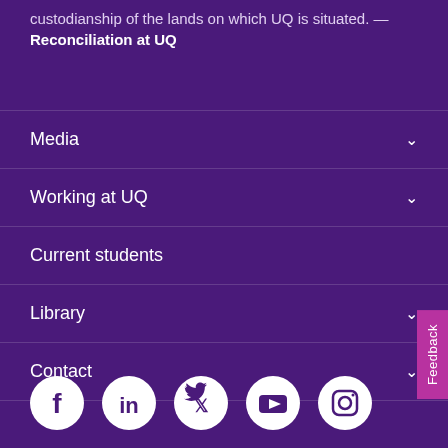custodianship of the lands on which UQ is situated. — Reconciliation at UQ
Media
Working at UQ
Current students
Library
Contact
[Figure (other): Social media icons: Facebook, LinkedIn, Twitter, YouTube, Instagram]